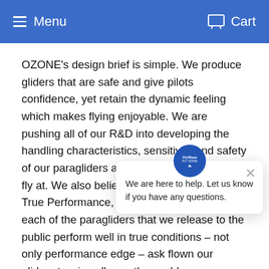Menu   Cart
OZONE's design brief is simple. We produce gliders that are safe and give pilots confidence, yet retain the dynamic feeling which makes flying enjoyable. We are pushing all of our R&D into developing the handling characteristics, sensitivity and safety of our paragliders at the speeds we normally fly at. We also believe in testing our wing's True Performance, and we are confident that each of the paragliders that we release to the public perform well in true conditions – not only performance edge – ask flown our gliders to wins all over the world.
We are here to help. Let us know if you have any questions.
Our base in the south of France is right beneath G one of the most reliable flying sites in the world. With soaring conditions over 300 days of the year we are able